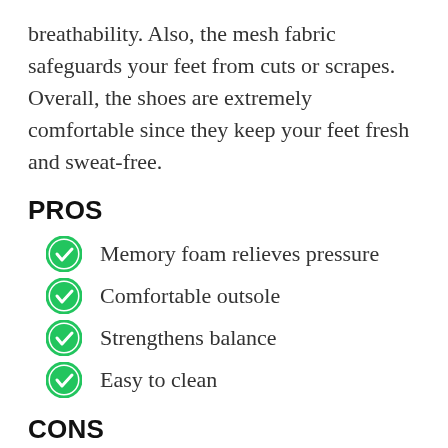breathability. Also, the mesh fabric safeguards your feet from cuts or scrapes. Overall, the shoes are extremely comfortable since they keep your feet fresh and sweat-free.
PROS
Memory foam relieves pressure
Comfortable outsole
Strengthens balance
Easy to clean
CONS